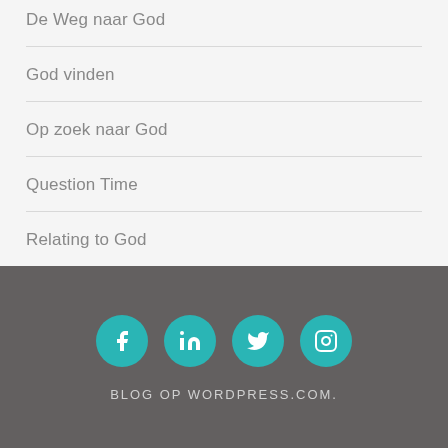De Weg naar God
God vinden
Op zoek naar God
Question Time
Relating to God
[Figure (other): Social media icons: Facebook, LinkedIn, Twitter, Instagram — teal circles on dark grey footer background]
BLOG OP WORDPRESS.COM.